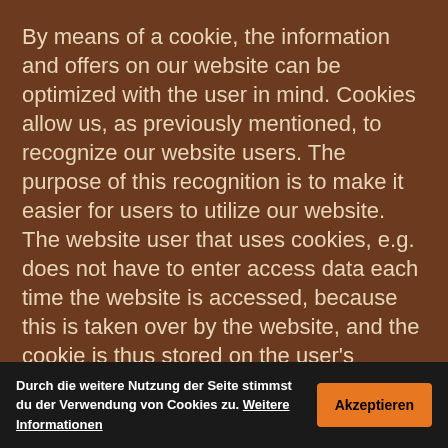By means of a cookie, the information and offers on our website can be optimized with the user in mind. Cookies allow us, as previously mentioned, to recognize our website users. The purpose of this recognition is to make it easier for users to utilize our website. The website user that uses cookies, e.g. does not have to enter access data each time the website is accessed, because this is taken over by the website, and the cookie is thus stored on the user's computer system. Another example is the cookie of a shopping cart in an online shop. The online store remembers the articles that a customer has placed in the virtual shopping cart via a cookie.
The data subject may, at any time, prevent the setting of cookies through our website by means of a corresponding setting of the Internet browser used, and may thus permanently deny the allowing of cookies. Furthermore, already set cookies may be deleted at any time via an Internet browser or other software programs. This is
Durch die weitere Nutzung der Seite stimmst du der Verwendung von Cookies zu. Weitere Informationen
Akzeptieren